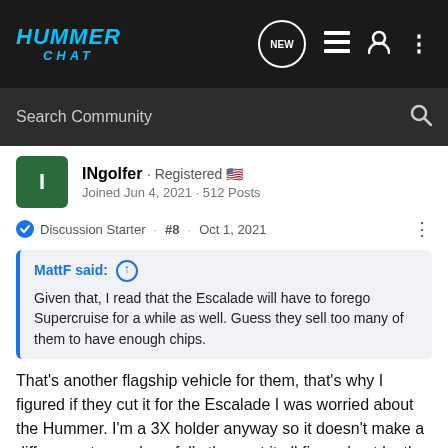HUMMER CHAT
Search Community
INgolfer · Registered
Joined Jun 4, 2021 · 512 Posts
Discussion Starter · #8 · Oct 1, 2021
MattF said: ↑
Given that, I read that the Escalade will have to forego Supercruise for a while as well. Guess they sell too many of them to have enough chips.
That's another flagship vehicle for them, that's why I figured if they cut it for the Escalade I was worried about the Hummer. I'm a 3X holder anyway so it doesn't make a difference to me, hopefully they got it all figured out by the time the 3x rolls around